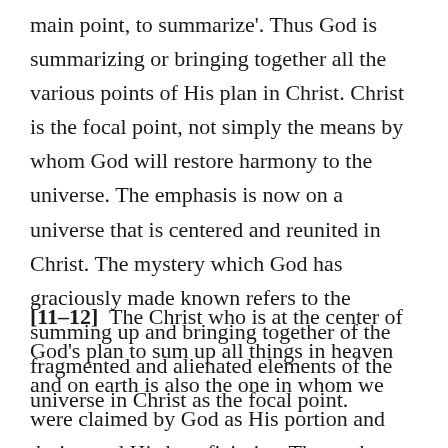main point, to summarize'. Thus God is summarizing or bringing together all the various points of His plan in Christ. Christ is the focal point, not simply the means by whom God will restore harmony to the universe. The emphasis is now on a universe that is centered and reunited in Christ. The mystery which God has graciously made known refers to the summing up and bringing together of the fragmented and alienated elements of the universe in Christ as the focal point.
[11–12] The Christ who is at the center of God's plan to sum up all things in heaven and on earth is also the one in whom we were claimed by God as His portion and designated His beneficiaries. The we here refers to Paul and his fellow Jewish believers. The Gentile readers of the letter are not included in this